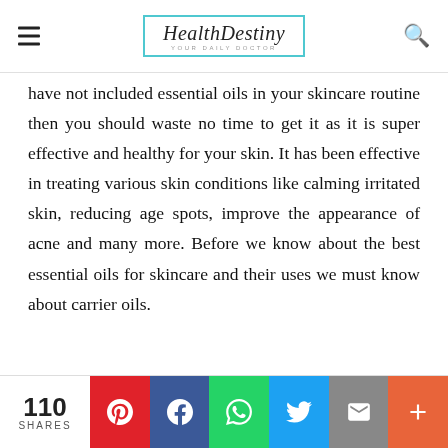HealthDestiny — YOUR DAILY DOCTOR
have not included essential oils in your skincare routine then you should waste no time to get it as it is super effective and healthy for your skin. It has been effective in treating various skin conditions like calming irritated skin, reducing age spots, improve the appearance of acne and many more. Before we know about the best essential oils for skincare and their uses we must know about carrier oils.
110 SHARES — Pinterest, Facebook, WhatsApp, Twitter, Email, More